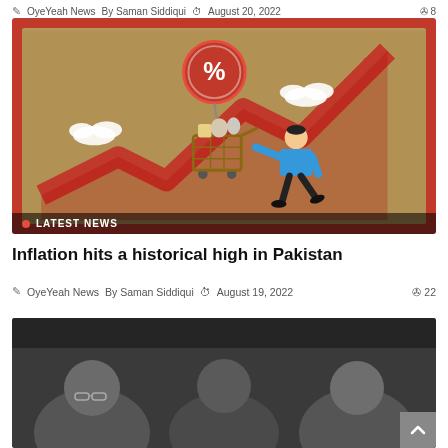OyeYeah News  By Saman Siddiqui  August 20, 2022  8
[Figure (illustration): Inflation illustration: a man in blue shirt pulling a shopping cart full of groceries, the cart is attached by string to a red balloon with a percent sign. A large red zigzag upward arrow is in the background on a tan/brown background. White clouds visible. Bottom bar reads LATEST NEWS.]
Inflation hits a historical high in Pakistan
OyeYeah News  By Saman Siddiqui  August 19, 2022  22
[Figure (photo): Photo of three men, partially visible from shoulders up, dark background.]